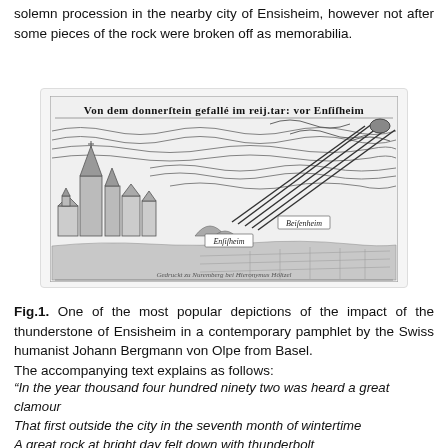solemn procession in the nearby city of Ensisheim, however not after some pieces of the rock were broken off as memorabilia.
[Figure (illustration): A woodcut illustration showing the thunderstone (meteorite) falling over the city of Ensisheim. The image has a Gothic script title reading 'Von dem donnerstein gefalle im reij. tar: vor Ensisheim' at the top. The woodcut depicts a medieval city with a church and buildings on the left, and a meteorite streaking diagonally across a cloud-filled sky on the right, with labels 'Ensisheim' and 'Ensisheim' visible.]
Fig.1. One of the most popular depictions of the impact of the thunderstone of Ensisheim in a contemporary pamphlet by the Swiss humanist Johann Bergmann von Olpe from Basel.
The accompanying text explains as follows:
“In the year thousand four hundred ninety two was heard a great clamour
That first outside the city in the seventh month of wintertime
A great rock at bright day felt down with thunderbolt
With a weight of three and a half centner and with the colour of iron it was brought here in a solemn procession, with great strength many